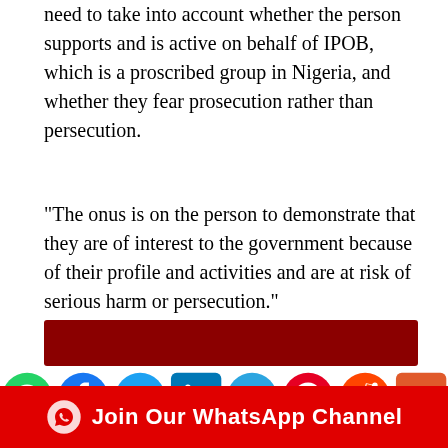need to take into account whether the person supports and is active on behalf of IPOB, which is a proscribed group in Nigeria, and whether they fear prosecution rather than persecution.
“The onus is on the person to demonstrate that they are of interest to the government because of their profile and activities and are at risk of serious harm or persecution.”
[Figure (other): Dark red/maroon horizontal banner bar]
[Figure (other): Social media sharing icons: WhatsApp, Facebook, Twitter, LinkedIn, Telegram, Pinterest, Reddit, Email]
[Figure (other): Red banner with WhatsApp icon and text: Join Our WhatsApp Channel]